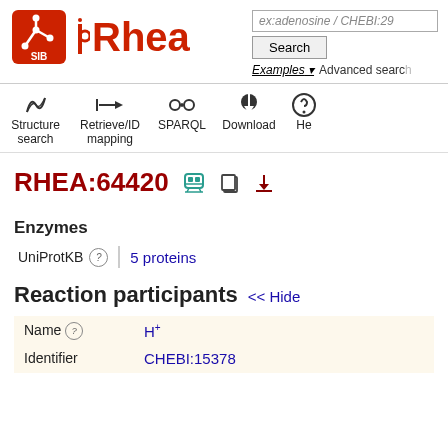[Figure (logo): SIB Swiss Institute of Bioinformatics logo (red square with white molecular structure) next to Rhea text logo in red]
ex:adenosine / CHEBI:29
Search
Examples ▾  Advanced search
Structure search   Retrieve/ID mapping   SPARQL   Download   He
RHEA:64420
Enzymes
UniProtKB  5 proteins
Reaction participants << Hide
| Name | Identifier |
| --- | --- |
| H+ | CHEBI:15378 |